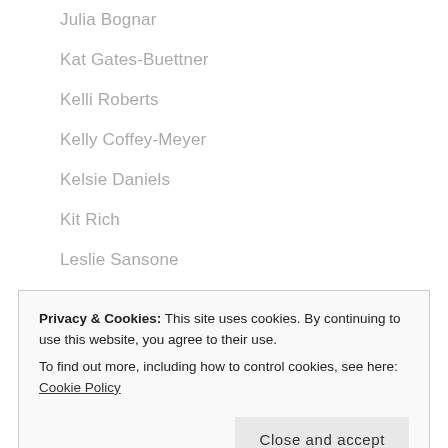Julia Bognar
Kat Gates-Buettner
Kelli Roberts
Kelly Coffey-Meyer
Kelsie Daniels
Kit Rich
Leslie Sansone
Libby Heath
Linda Wooldridge
Privacy & Cookies: This site uses cookies. By continuing to use this website, you agree to their use. To find out more, including how to control cookies, see here: Cookie Policy
Mai-Britt Catrine